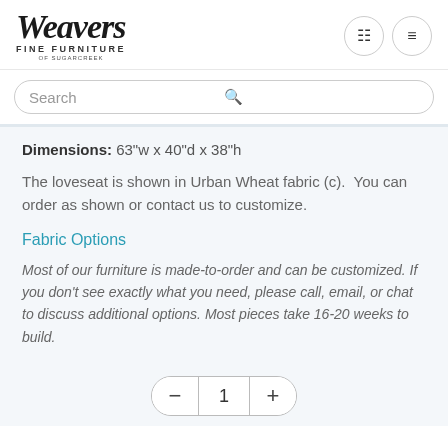[Figure (logo): Weavers Fine Furniture of Sugarcreek logo in script font]
Search
Dimensions: 63"w x 40"d x 38"h
The loveseat is shown in Urban Wheat fabric (c).  You can order as shown or contact us to customize.
Fabric Options
Most of our furniture is made-to-order and can be customized. If you don't see exactly what you need, please call, email, or chat to discuss additional options. Most pieces take 16-20 weeks to build.